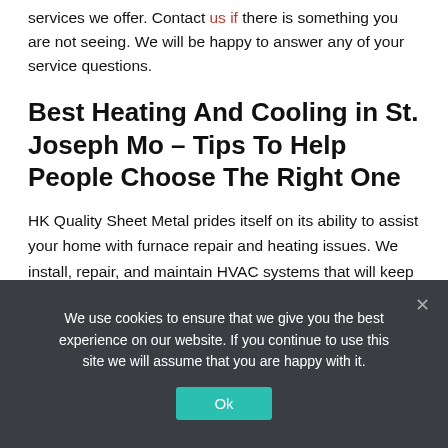services we offer. Contact us if there is something you are not seeing. We will be happy to answer any of your service questions.
Best Heating And Cooling in St. Joseph Mo – Tips To Help People Choose The Right One
HK Quality Sheet Metal prides itself on its ability to assist your home with furnace repair and heating issues. We install, repair, and maintain HVAC systems that will keep your family warm in the cold Missouri winters. Our team has been providing services for over 63years. For all your furnace and residential heating needs, call us today.
We use cookies to ensure that we give you the best experience on our website. If you continue to use this site we will assume that you are happy with it.